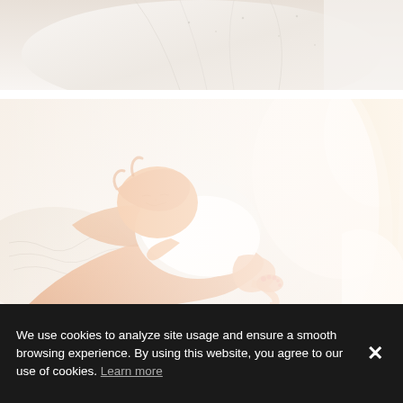[Figure (photo): Close-up partial photo of a person wearing a white top, cropped at torso level, bright white background]
[Figure (photo): A newborn baby sleeping peacefully in white onesie, cradled in a woman's arms with blonde hair visible, soft bright natural light background]
We use cookies to analyze site usage and ensure a smooth browsing experience. By using this website, you agree to our use of cookies. Learn more